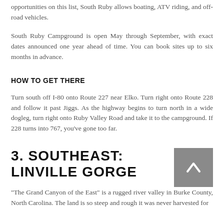opportunities on this list, South Ruby allows boating, ATV riding, and off-road vehicles.
South Ruby Campground is open May through September, with exact dates announced one year ahead of time. You can book sites up to six months in advance.
HOW TO GET THERE
Turn south off I-80 onto Route 227 near Elko. Turn right onto Route 228 and follow it past Jiggs. As the highway begins to turn north in a wide dogleg, turn right onto Ruby Valley Road and take it to the campground. If 228 turns into 767, you've gone too far.
3. SOUTHEAST: LINVILLE GORGE
“The Grand Canyon of the East” is a rugged river valley in Burke County, North Carolina. The land is so steep and rough it was never harvested for